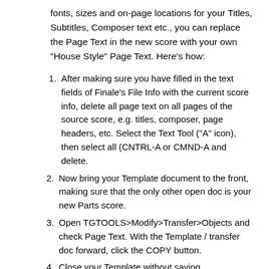fonts, sizes and on-page locations for your Titles, Subtitles, Composer text etc., you can replace the Page Text in the new score with your own "House Style" Page Text. Here's how:
After making sure you have filled in the text fields of Finale's File Info with the current score info, delete all page text on all pages of the source score, e.g. titles, composer, page headers, etc. Select the Text Tool ("A" icon), then select all (CNTRL-A or CMND-A and delete.
Now bring your Template document to the front, making sure that the only other open doc is your new Parts score.
Open TGTOOLS>Modify>Transfer>Objects and check Page Text. With the Template / transfer doc forward, click the COPY button.
Close your Template without saving.